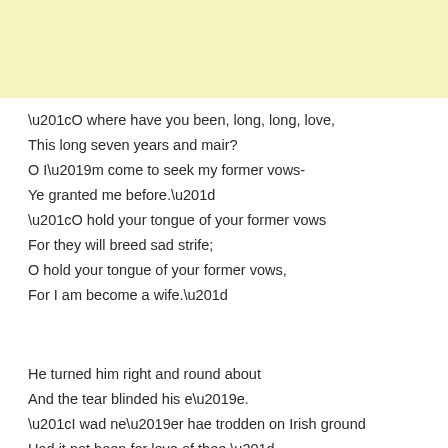[Figure (other): Yellow/cream colored band at top of page]
“O where have you been, long, long, love,
This long seven years and mair?
O I’m come to seek my former vows-
Ye granted me before.”
“O hold your tongue of your former vows
For they will breed sad strife;
O hold your tongue of your former vows,
For I am become a wife.”
He turned him right and round about
And the tear blinded his e’e.
“I wad ne’er hae trodden on Irish ground
Had it not been for love of thee.”